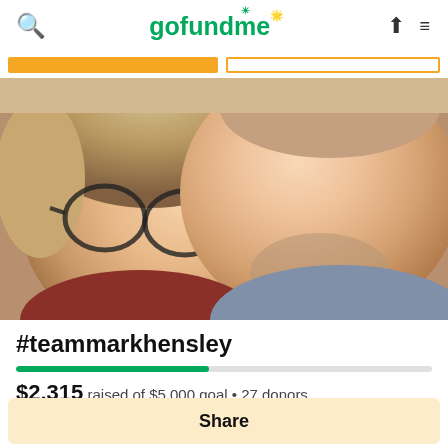gofundme
[Figure (photo): Selfie photo of two people, a woman with glasses and short blonde hair on the left and a man with a beard on the right, both smiling, close-up portrait style]
#teammarkhensley
$2,315 raised of $5,000 goal • 27 donors
Share